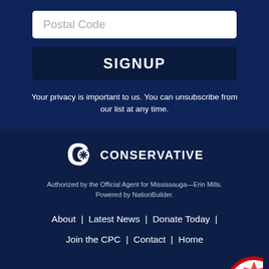Postal Code
SIGNUP
Your privacy is important to us. You can unsubscribe from our list at any time.
[Figure (logo): Conservative Party of Canada logo: a stylized C with a maple leaf star inside, followed by the word CONSERVATIVE in white bold text]
Authorized by the Official Agent for Mississauga—Erin Mills.
Powered by NationBuilder.
About  |  Latest News  |  Donate Today  |
Join the CPC  |  Contact  |  Home
[Figure (illustration): Partial circular illustration at bottom right, appears to be a candidate photo or logo with red and white maple leaf imagery]